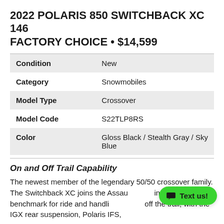2022 POLARIS 850 SWITCHBACK XC 146 FACTORY CHOICE • $14,599
| Condition | New |
| Category | Snowmobiles |
| Model Type | Crossover |
| Model Code | S22TLP8RS |
| Color | Gloss Black / Stealth Gray / Sky Blue |
On and Off Trail Capability
The newest member of the legendary 50/50 crossover family. The Switchback XC joins the Assault as an industry benchmark for ride and handling on and off the trail, with the IGX rear suspension, Polaris IFS, and the highest horsepower 850 Patriot...